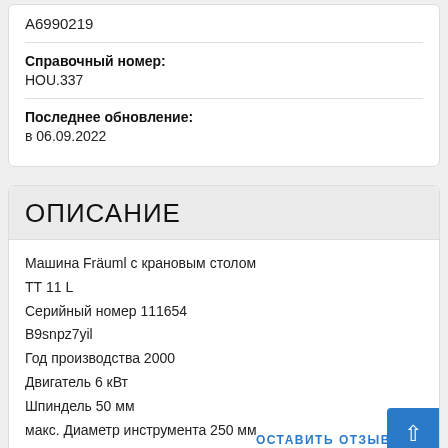A6990219
Справочный номер:
HOU.337
Последнее обновление:
в 06.09.2022
ОПИСАНИЕ
Машина Fr&auml;uml с крановым столом
ТТ 11 L
Серийный номер 111654
B9snpz7yil
Год производства 2000
Двигатель 6 кВт
Шпиндель 50 мм
макс. Диаметр инструмента 250 мм